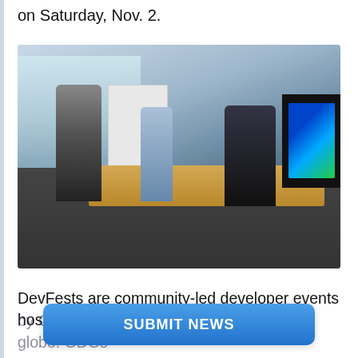on Saturday, Nov. 2.
[Figure (photo): People in a modern conference room with large windows. One person stands near a whiteboard on the left, another person stands in the middle, and a third person sits at a wooden conference table on the right with a laptop. A large screen is visible on the right wall.]
DevFests are community-led developer events hosted by Google Developer Groups around the globe. GDGs are fo... about Google's technologies.
SUBMIT NEWS